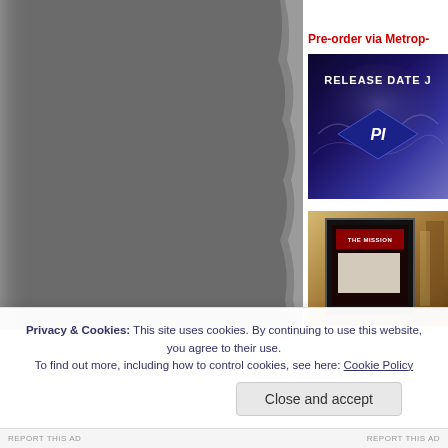[Figure (photo): Large grey photo area occupying left column, appears to be a torn paper or grey background effect]
Pre-order via Metrop-
[Figure (photo): Ad image with dark blue/purple smoky background, text reading RELEASE DATE J and a diamond shape with PI text]
[Figure (photo): Ad image showing a framed picture/poster in warm golden/orange tones, dark frame with THE MISSION text]
Privacy & Cookies: This site uses cookies. By continuing to use this website, you agree to their use.
To find out more, including how to control cookies, see here: Cookie Policy
Close and accept
REPORT THIS AD                    REPORT THIS AD